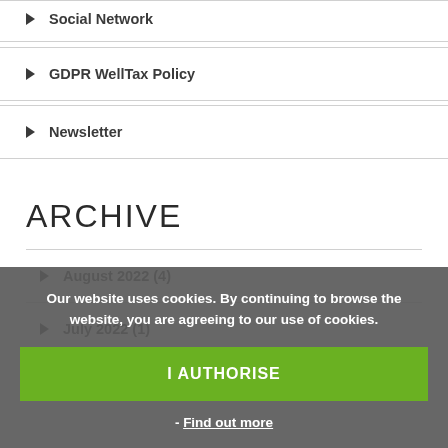▶ Social Network
▶ GDPR WellTax Policy
▶ Newsletter
ARCHIVE
▶ August 2022 (4)
▶ July 2022 (1)
Our website uses cookies. By continuing to browse the website, you are agreeing to our use of cookies.
I AUTHORISE
- Find out more